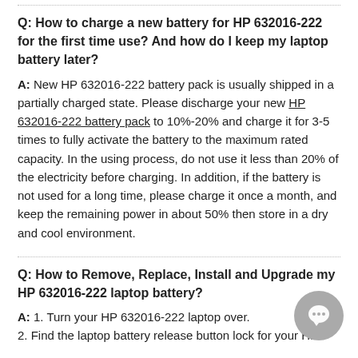Q: How to charge a new battery for HP 632016-222 for the first time use? And how do I keep my laptop battery later?
A: New HP 632016-222 battery pack is usually shipped in a partially charged state. Please discharge your new HP 632016-222 battery pack to 10%-20% and charge it for 3-5 times to fully activate the battery to the maximum rated capacity. In the using process, do not use it less than 20% of the electricity before charging. In addition, if the battery is not used for a long time, please charge it once a month, and keep the remaining power in about 50% then store in a dry and cool environment.
Q: How to Remove, Replace, Install and Upgrade my HP 632016-222 laptop battery?
A: 1. Turn your HP 632016-222 laptop over.
2. Find the laptop battery release button lock for your HP